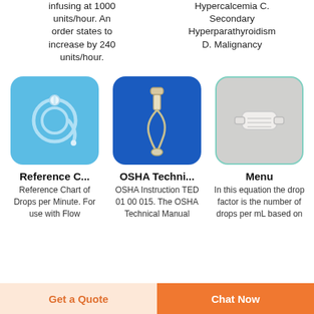infusing at 1000 units/hour. An order states to increase by 240 units/hour.
Hypercalcemia C. Secondary Hyperparathyroidism D. Malignancy
[Figure (photo): IV catheter tubing on light blue background]
[Figure (photo): IV infusion set with tubing on dark blue background]
[Figure (photo): Medical connector/stopcock on gray background with teal border]
Reference C...
OSHA Techni...
Menu
Reference Chart of Drops per Minute. For use with Flow
OSHA Instruction TED 01 00 015. The OSHA Technical Manual
In this equation the drop factor is the number of drops per mL based on